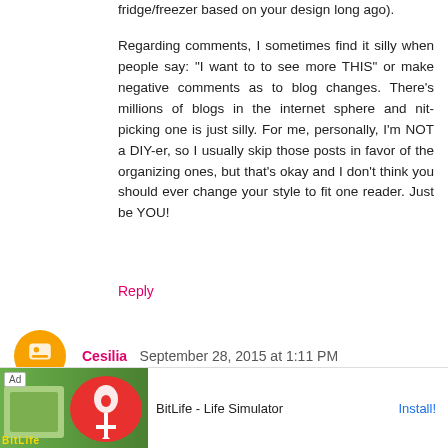fridge/freezer based on your design long ago).
Regarding comments, I sometimes find it silly when people say: "I want to to see more THIS" or make negative comments as to blog changes. There's millions of blogs in the internet sphere and nit-picking one is just silly. For me, personally, I'm NOT a DIY-er, so I usually skip those posts in favor of the organizing ones, but that's okay and I don't think you should ever change your style to fit one reader. Just be YOU!
Reply
Cesilia  September 28, 2015 at 1:11 PM
I admire you for realizing that you are burning out and that you ask us what we would like to see on your blog...i love your blog first of all, and yours is one of only maybe 3 that i constantly come to for ideas. I love the remodels you do, but I also love that you have normal people projects that don't in b s, etci. I n on time, b nd paint
[Figure (screenshot): Advertisement banner for BitLife - Life Simulator app with install button]